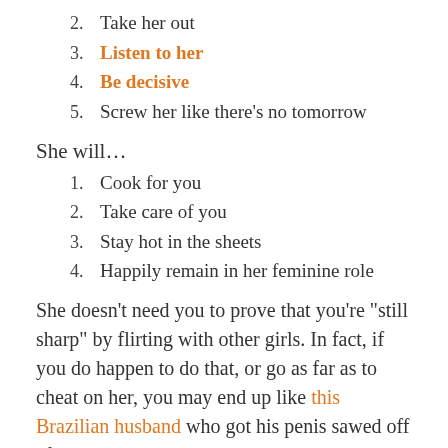2. Take her out
3. Listen to her
4. Be decisive
5. Screw her like there's no tomorrow
She will…
1. Cook for you
2. Take care of you
3. Stay hot in the sheets
4. Happily remain in her feminine role
She doesn't need you to prove that you're "still sharp" by flirting with other girls. In fact, if you do happen to do that, or go as far as to cheat on her, you may end up like this Brazilian husband who got his penis sawed off after his